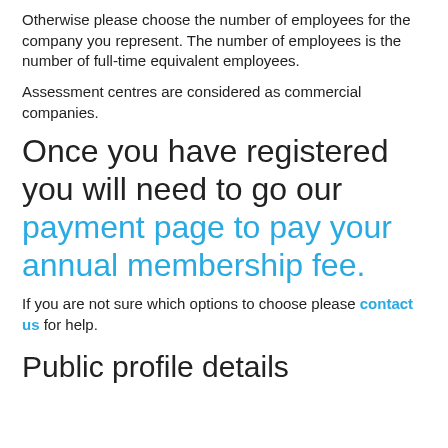Otherwise please choose the number of employees for the company you represent. The number of employees is the number of full-time equivalent employees.
Assessment centres are considered as commercial companies.
Once you have registered you will need to go our payment page to pay your annual membership fee.
If you are not sure which options to choose please contact us for help.
Public profile details